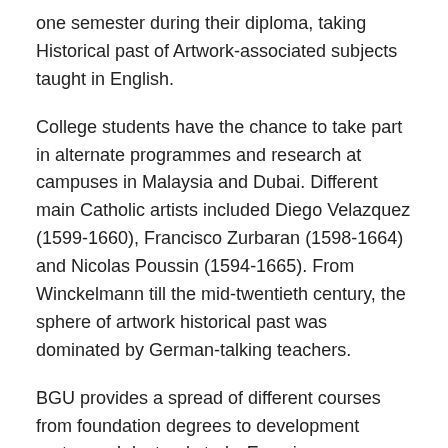one semester during their diploma, taking Historical past of Artwork-associated subjects taught in English.
College students have the chance to take part in alternate programmes and research at campuses in Malaysia and Dubai. Different main Catholic artists included Diego Velazquez (1599-1660), Francisco Zurbaran (1598-1664) and Nicolas Poussin (1594-1665). From Winckelmann till the mid-twentieth century, the sphere of artwork historical past was dominated by German-talking teachers.
BGU provides a spread of different courses from foundation degrees to development routes and doctoral study. Examine overseas is offered to college students by way of the Erasmus change programme. Specifically, postgraduates have the opportunity to participate in the actions of the multidisciplinary Aesthetics Analysis Centre and the Artwork History and Visual Cultures Research Centre.